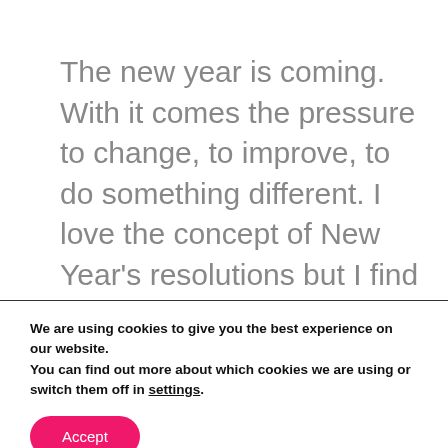The new year is coming. With it comes the pressure to change, to improve, to do something different. I love the concept of New Year's resolutions but I find that they rarely actually work. Therefore, I'm developing something slightly different that I think you'll really
We are using cookies to give you the best experience on our website.
You can find out more about which cookies we are using or switch them off in settings.